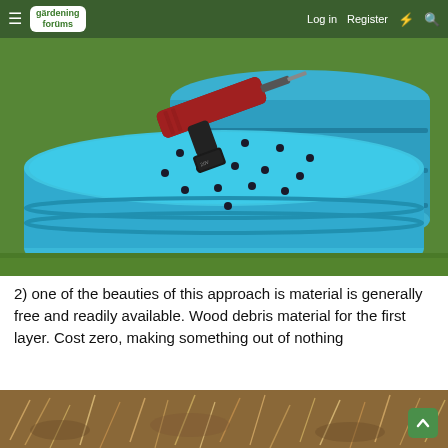gardening forums — Log in  Register
[Figure (photo): Two blue plastic barrels/drums sitting on grass. The top barrel has a red cordless drill resting on it, and the bottom barrel has multiple small holes drilled into its lid.]
2) one of the beauties of this approach is material is generally free and readily available. Wood debris material for the first layer. Cost zero, making something out of nothing
[Figure (photo): Ground-level view of dry grass and plant debris/dead vegetation on the ground.]